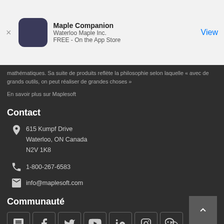[Figure (screenshot): App Store banner: Maple Companion by Waterloo Maple Inc., FREE - On the App Store, with View button]
mathématiques. Sa suite de produits reflète la philosophie selon laquelle « avec de grands outils, on peut réaliser de grandes choses »
En savoir plus sur Maplesoft
Contact
615 Kumpf Drive
Waterloo, ON Canada
N2V 1K8
1-800-267-6583
info@maplesoft.com
Communauté
[Figure (infographic): Row of 7 social media icon boxes: Forum/chat, Facebook, Twitter, YouTube, LinkedIn, Instagram, WeChat]